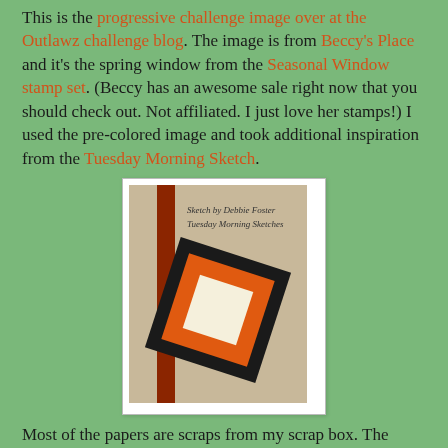This is the progressive challenge image over at the Outlawz challenge blog. The image is from Beccy's Place and it's the spring window from the Seasonal Window stamp set. (Beccy has an awesome sale right now that you should check out. Not affiliated. I just love her stamps!) I used the pre-colored image and took additional inspiration from the Tuesday Morning Sketch.
[Figure (illustration): A card sketch illustration showing a beige/tan card base with a dark red/brown vertical stripe on the left side. A large black rotated square is layered on top, containing an orange square frame with a cream/white square in the center. Text at top reads 'Sketch by Debbie Foster / Tuesday Morning Sketches'.]
Most of the papers are scraps from my scrap box. The exception would be the largest piece that comes from the Recollections Home Basic Paper Pack. The solid pick card stock was embossed with Sizzix Flourishes EF. The image and sentiment were die cut with Gina Marie Designs Grass Stitched Rectangles. The